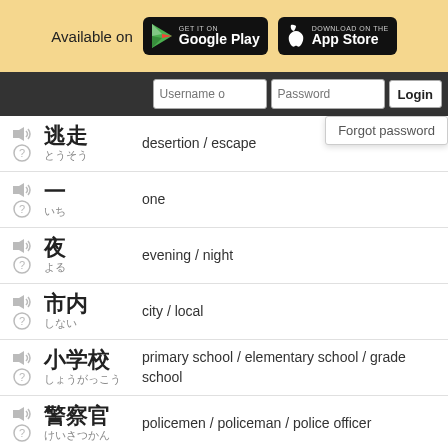[Figure (screenshot): App store banner with Available on Google Play and App Store badges]
[Figure (screenshot): Login bar with Username, Password fields and Login button, with Forgot password dropdown]
desertion / escape
one
evening / night
city / local
primary school / elementary school / grade school
policemen / policeman / police officer
care / protection / shelter / safeguard /